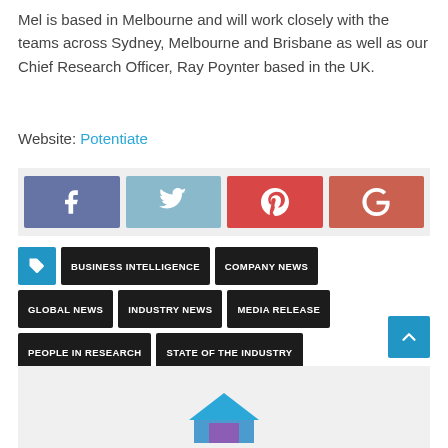Mel is based in Melbourne and will work closely with the teams across Sydney, Melbourne and Brisbane as well as our Chief Research Officer, Ray Poynter based in the UK.
Website: Potentiate
[Figure (infographic): Social sharing buttons: Facebook (blue-purple), Twitter (light blue), Pinterest (red), Google+ (orange-red)]
BUSINESS INTELLIGENCE
COMPANY NEWS
GLOBAL NEWS
INDUSTRY NEWS
MEDIA RELEASE
PEOPLE IN RESEARCH
STATE OF THE INDUSTRY
TRENDS
WOMEN IN RESEARCH
[Figure (logo): Partial logo visible at bottom of page]